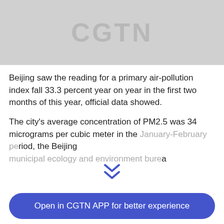[Figure (logo): CGTN logo placeholder — grey rectangle with 'CGTN' text in lighter grey]
Beijing saw the reading for a primary air-pollution index fall 33.3 percent year on year in the first two months of this year, official data showed.
The city's average concentration of PM2.5 was 34 micrograms per cubic meter in the January-February period, the Beijing municipal ecology and environment bureau
Open in CGTN APP for better experience